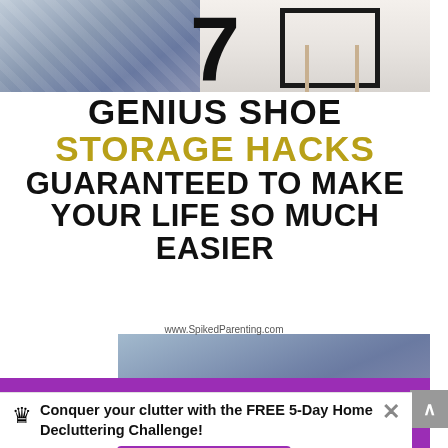[Figure (photo): Top portion showing jeans/clothing on left side and a wooden chair on right side]
7 GENIUS SHOE STORAGE HACKS GUARANTEED TO MAKE YOUR LIFE SO MUCH EASIER
www.SpikedParenting.com
[Figure (photo): Bottom photo showing person wearing jeans near a wooden chair]
7k Shares f t G+ p 7k Flipboard crown
Conquer your clutter with the FREE 5-Day Home Decluttering Challenge! I want in!